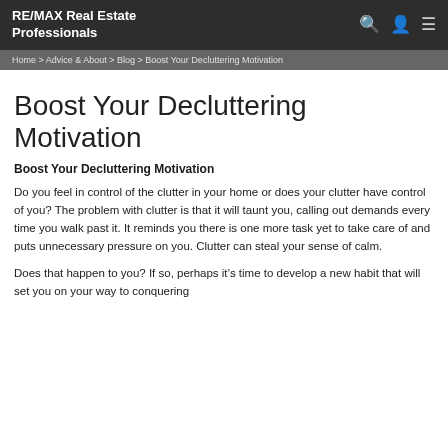RE/MAX Real Estate Professionals
Home > Advice & About > Blog > Boost Your Decluttering Motivation
Boost Your Decluttering Motivation
Boost Your Decluttering Motivation
Do you feel in control of the clutter in your home or does your clutter have control of you? The problem with clutter is that it will taunt you, calling out demands every time you walk past it. It reminds you there is one more task yet to take care of and puts unnecessary pressure on you. Clutter can steal your sense of calm.
Does that happen to you? If so, perhaps it’s time to develop a new habit that will set you on your way to conquering